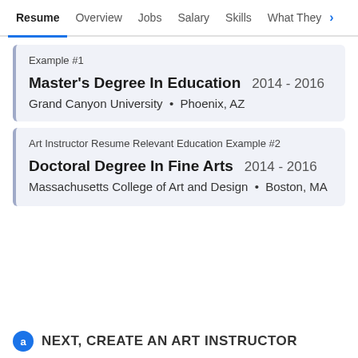Resume  Overview  Jobs  Salary  Skills  What They >
Example #1
Master's Degree In Education  2014 - 2016
Grand Canyon University  •  Phoenix, AZ
Art Instructor Resume Relevant Education Example #2
Doctoral Degree In Fine Arts  2014 - 2016
Massachusetts College of Art and Design  •  Boston, MA
NEXT, CREATE AN ART INSTRUCTOR